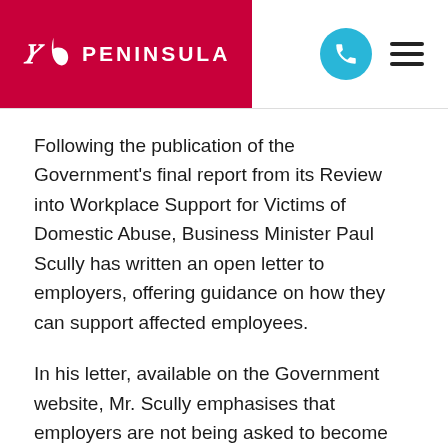[Figure (logo): Peninsula logo with stylized P icon in white on red background and PENINSULA text in white]
Following the publication of the Government's final report from its Review into Workplace Support for Victims of Domestic Abuse, Business Minister Paul Scully has written an open letter to employers, offering guidance on how they can support affected employees.
In his letter, available on the Government website, Mr. Scully emphasises that employers are not being asked to become specialists in handling domestic